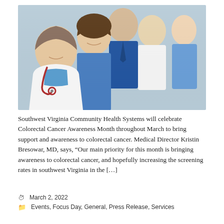[Figure (photo): Group of five medical professionals smiling at camera: a female doctor in white coat with red stethoscope in foreground, a female nurse in blue scrubs, two men in white coats, and a woman in blue scrubs in the background.]
Southwest Virginia Community Health Systems will celebrate Colorectal Cancer Awareness Month throughout March to bring support and awareness to colorectal cancer. Medical Director Kristin Bresowar, MD, says, “Our main priority for this month is bringing awareness to colorectal cancer, and hopefully increasing the screening rates in southwest Virginia in the […]
March 2, 2022
Events, Focus Day, General, Press Release, Services